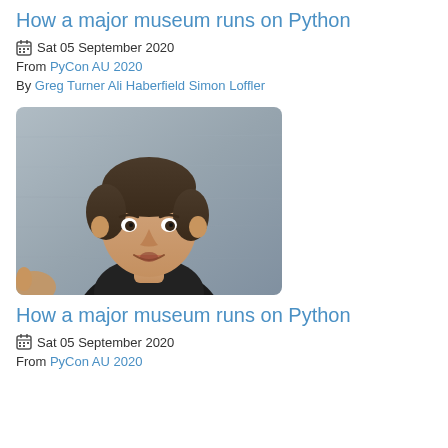How a major museum runs on Python
Sat 05 September 2020
From PyCon AU 2020
By Greg Turner Ali Haberfield Simon Loffler
[Figure (photo): Photo of a man with short dark hair, wearing a black shirt, speaking against a grey concrete wall background.]
How a major museum runs on Python
Sat 05 September 2020
From PyCon AU 2020